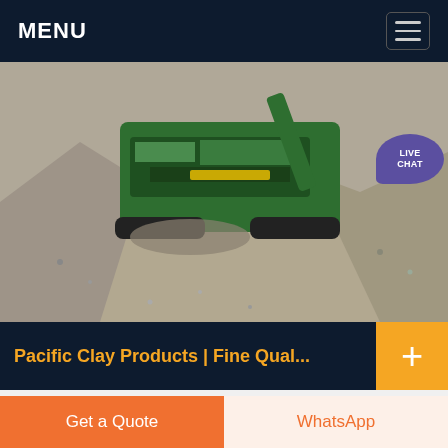MENU
[Figure (photo): Aerial/close-up view of industrial crushing or quarrying machinery (green machine) surrounded by gravel/aggregate piles, with a 'LIVE CHAT' bubble overlay in purple.]
Pacific Clay Products | Fine Qual...
View our complete product lines. Find a Pacific Clay Dealer near you. COVID19 Notice: April 5th 2020 Please Read our Visitor Guidelines New Hours Fine Quality Clay Products, Since 1892 Pacific clay continues to meet the needs of its
Get a Quote | WhatsApp